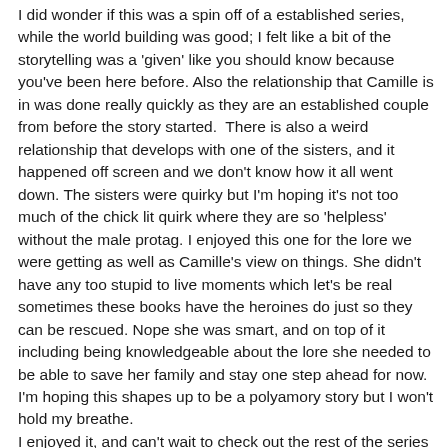I did wonder if this was a spin off of a established series, while the world building was good; I felt like a bit of the storytelling was a 'given' like you should know because you've been here before. Also the relationship that Camille is in was done really quickly as they are an established couple from before the story started.  There is also a weird relationship that develops with one of the sisters, and it happened off screen and we don't know how it all went down. The sisters were quirky but I'm hoping it's not too much of the chick lit quirk where they are so 'helpless' without the male protag. I enjoyed this one for the lore we were getting as well as Camille's view on things. She didn't have any too stupid to live moments which let's be real sometimes these books have the heroines do just so they can be rescued. Nope she was smart, and on top of it including being knowledgeable about the lore she needed to be able to save her family and stay one step ahead for now. I'm hoping this shapes up to be a polyamory story but I won't hold my breathe.
I enjoyed it, and can't wait to check out the rest of the series which I now own up to book 18 thanks to Savers over the